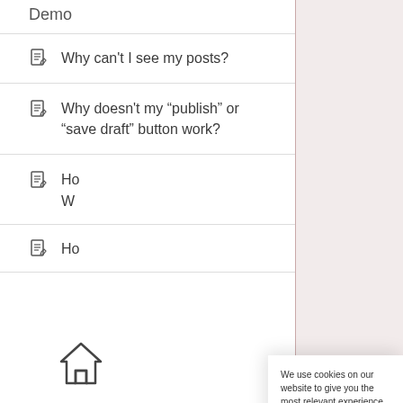Demo
Why can't I see my posts?
Why doesn't my “publish” or “save draft” button work?
Ho
W
Ho
We use cookies on our website to give you the most relevant experience by remembering your preferences and visits. By clicking “Accept All”, you consent to the use of ALL the cookies. You may visit “Cookie Settings” to customise your consent.
Cookie Settings
Accept All